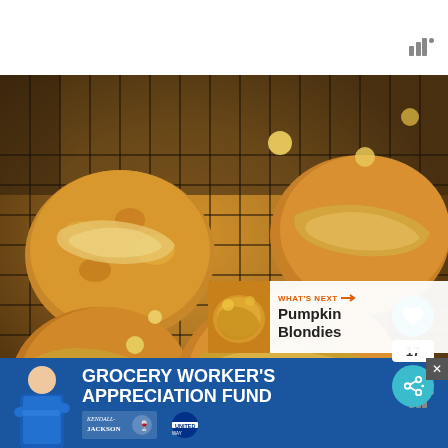[Figure (photo): Close-up photo of glazed oatmeal cookies with white chocolate chips on a wire cooling rack, covered in brown sugar glaze]
WHAT'S NEXT → Pumpkin Blondies
[Figure (photo): Advertisement banner: Grocery Worker's Appreciation Fund featuring Kendall-Jackson and United Way logos, with a person in blue shirt on left]
GROCERY WORKER'S APPRECIATION FUND